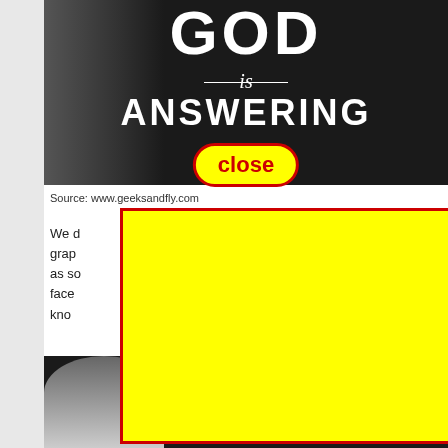[Figure (screenshot): Black and white image with Albert Einstein's face on the left, and large white bold text reading 'GOD is ANSWERING' on a dark background. A 'close' button with yellow background and red border is overlaid near the bottom of the image.]
Source: www.geeksandfly.com
We d... grap... pic as so... face... kno...
[Figure (photo): A yellow rectangle with red border overlaid on the page content (advertisement overlay). Partially visible black and white photo of a figure at the bottom of the page.]